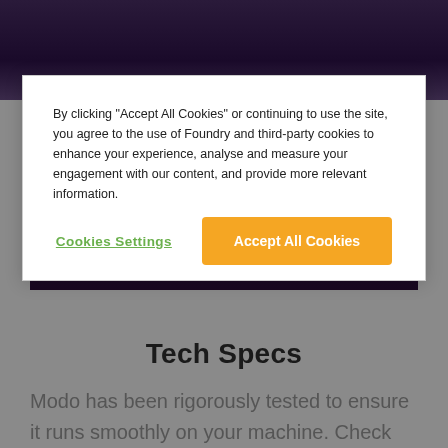[Figure (screenshot): Screenshot of a webpage with a dark background image visible behind a cookie consent modal dialog]
By clicking "Accept All Cookies" or continuing to use the site, you agree to the use of Foundry and third-party cookies to enhance your experience, analyse and measure your engagement with our content, and provide more relevant information.
Cookies Settings
Accept All Cookies
Tech Specs
Modo has been rigorously tested to ensure it runs smoothly on your machine. Check out Modo's tech